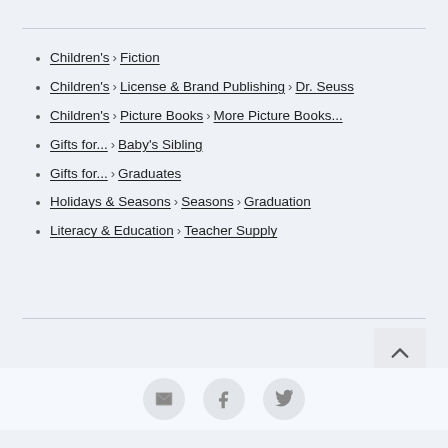Children's > Fiction
Children's > License & Brand Publishing > Dr. Seuss
Children's > Picture Books > More Picture Books...
Gifts for... > Baby's Sibling
Gifts for... > Graduates
Holidays & Seasons > Seasons > Graduation
Literacy & Education > Teacher Supply
[Figure (illustration): Back to top arrow button (chevron up icon) in light gray box]
[Figure (illustration): Social sharing icons: email envelope, Facebook f, Twitter bird — each in circular gray buttons]